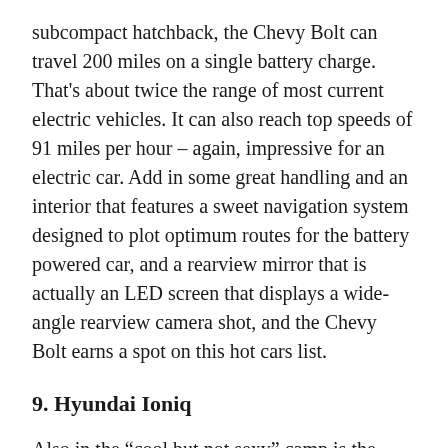subcompact hatchback, the Chevy Bolt can travel 200 miles on a single battery charge. That's about twice the range of most current electric vehicles. It can also reach top speeds of 91 miles per hour – again, impressive for an electric car. Add in some great handling and an interior that features a sweet navigation system designed to plot optimum routes for the battery powered car, and a rearview mirror that is actually an LED screen that displays a wide-angle rearview camera shot, and the Chevy Bolt earns a spot on this hot cars list.
9. Hyundai Ioniq
Also in the “cool but not sexy” camp is the Hyundai Ioniq, a brand new four-door compact that is both a gas/electric hybrid and also a full electric car. That's